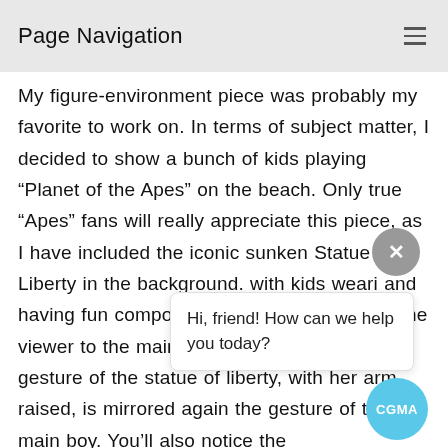Page Navigation
My figure-environment piece was probably my favorite to work on. In terms of subject matter, I decided to show a bunch of kids playing “Planet of the Apes” on the beach. Only true “Apes” fans will really appreciate this piece, as I have included the iconic sunken Statue of Liberty in the background. with kids weari and having fun compositional elements to direct the viewer to the main boy focal point. First, the gesture of the statue of liberty, with her arm raised, is mirrored again the gesture of the main boy. You’ll also notice the
Hi, friend! How can we help you today?